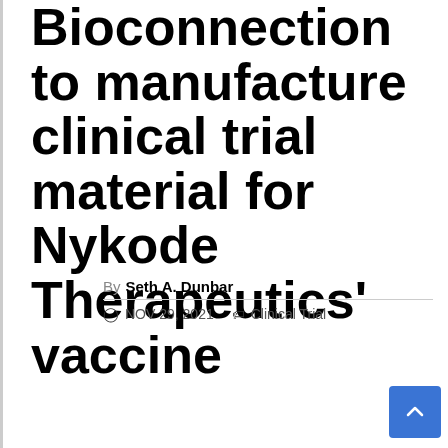Bioconnection to manufacture clinical trial material for Nykode Therapeutics' vaccine
By Seth A. Dunbar
NOV 29, 2021  Clinical Trial